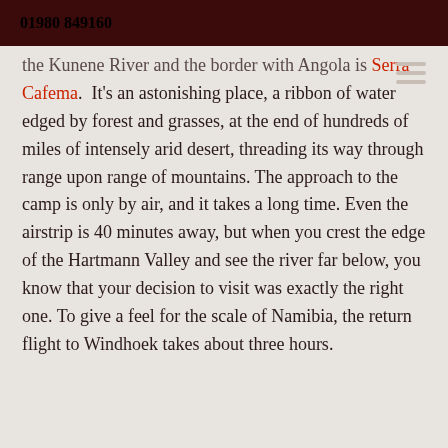01980 849160
the Kunene River and the border with Angola is Serra Cafema.  It's an astonishing place, a ribbon of water edged by forest and grasses, at the end of hundreds of miles of intensely arid desert, threading its way through range upon range of mountains. The approach to the camp is only by air, and it takes a long time. Even the airstrip is 40 minutes away, but when you crest the edge of the Hartmann Valley and see the river far below, you know that your decision to visit was exactly the right one. To give a feel for the scale of Namibia, the return flight to Windhoek takes about three hours.